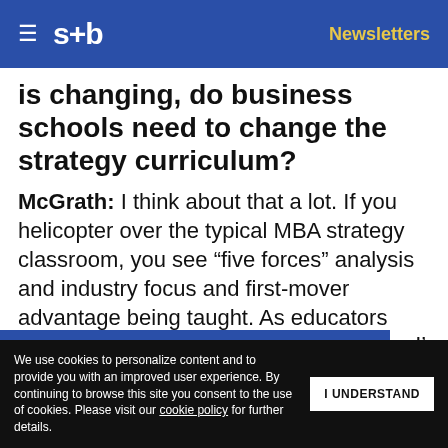s+b | Newsletters
is changing, do business schools need to change the strategy curriculum?
McGrath: I think about that a lot. If you helicopter over the typical MBA strategy classroom, you see “five forces” analysis and industry focus and first-mover advantage being taught. As educators and as people who are dedicated to thinking about strategy in a [changing world]... I’m hoping [we] do some
Get s+b’s award-winning newsletter delivered to your inbox.
We use cookies to personalize content and to provide you with an improved user experience. By continuing to browse this site you consent to the use of cookies. Please visit our cookie policy for further details.